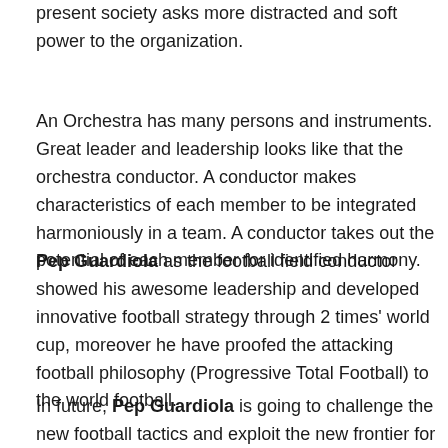present society asks more distracted and soft power to the organization.
An Orchestra has many persons and instruments. Great leader and leadership looks like that the orchestra conductor. A conductor makes characteristics of each member to be integrated harmoniously in a team. A conductor takes out the potential of each member for identified harmony.
Pep Guardiola as the football field conductor showed his awesome leadership and developed innovative football strategy through 2 times' world cup, moreover he have proofed the attacking football philosophy (Progressive Total Football) to the world football.
In future, Pep Guardiola is going to challenge the new football tactics and exploit the new frontier for